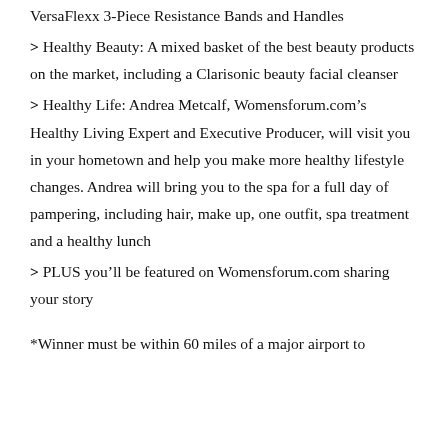VersaFlexx 3-Piece Resistance Bands and Handles
> Healthy Beauty: A mixed basket of the best beauty products on the market, including a Clarisonic beauty facial cleanser
> Healthy Life: Andrea Metcalf, Womensforum.com’s Healthy Living Expert and Executive Producer, will visit you in your hometown and help you make more healthy lifestyle changes. Andrea will bring you to the spa for a full day of pampering, including hair, make up, one outfit, spa treatment and a healthy lunch
> PLUS you’ll be featured on Womensforum.com sharing your story
*Winner must be within 60 miles of a major airport to